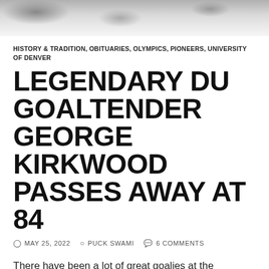[Figure (photo): Grayscale banner photo of a winter/snow scene at top of page]
HISTORY & TRADITION, OBITUARIES, OLYMPICS, PIONEERS, UNIVERSITY OF DENVER
LEGENDARY DU GOALTENDER GEORGE KIRKWOOD PASSES AWAY AT 84
MAY 25, 2022   PUCK SWAMI   6 COMMENTS
There have been a lot of great goalies at the University of Denver over the years, and one of the best of them, George Kirkwood, passed away last month at age 84 in his native Edmonton, Alberta.